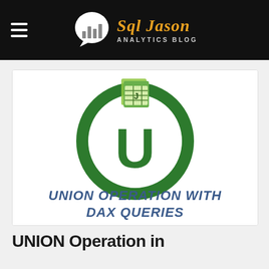Sql Jason ANALYTICS BLOG
[Figure (illustration): A green circular logo with a large letter U in the center and an Excel/database icon on top, with the text 'UNION OPERATION WITH DAX QUERIES' below in a hand-drawn style font.]
UNION Operation in